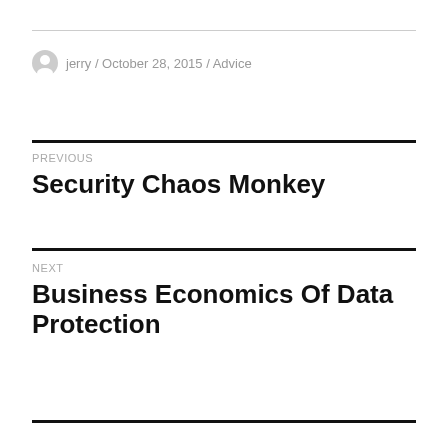jerry / October 28, 2015 / Advice
PREVIOUS
Security Chaos Monkey
NEXT
Business Economics Of Data Protection